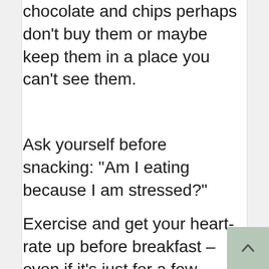chocolate and chips perhaps don't buy them or maybe keep them in a place you can't see them.
Ask yourself before snacking: "Am I eating because I am stressed?"
Exercise and get your heart-rate up before breakfast – even if it's just for a few minutes. It will help kick-start